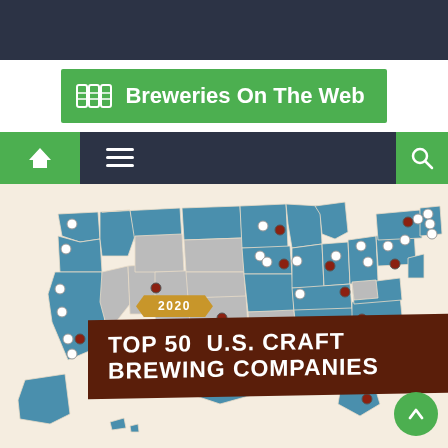Breweries On The Web
[Figure (map): Map of the United States showing locations of Top 50 U.S. Craft Brewing Companies in 2020. States with top breweries are highlighted in blue, with white and dark red markers indicating brewery locations across various states.]
2020 TOP 50 U.S. CRAFT BREWING COMPANIES